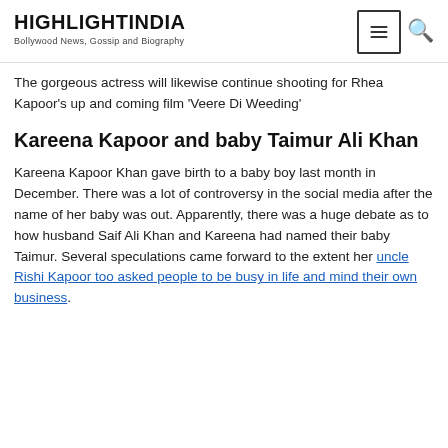HIGHLIGHTINDIA
Bollywood News, Gossip and Biography
The gorgeous actress will likewise continue shooting for Rhea Kapoor's up and coming film 'Veere Di Weeding'
Kareena Kapoor and baby Taimur Ali Khan
Kareena Kapoor Khan gave birth to a baby boy last month in December. There was a lot of controversy in the social media after the name of her baby was out. Apparently, there was a huge debate as to how husband Saif Ali Khan and Kareena had named their baby Taimur. Several speculations came forward to the extent her uncle Rishi Kapoor too asked people to be busy in life and mind their own business.